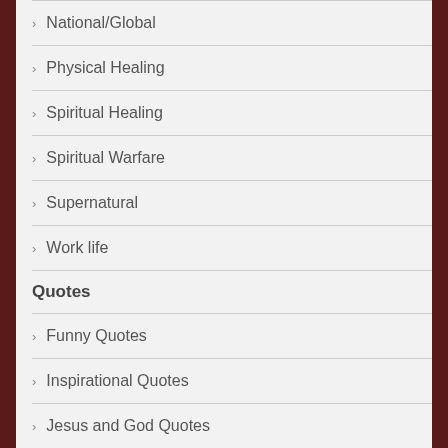National/Global
Physical Healing
Spiritual Healing
Spiritual Warfare
Supernatural
Work life
Quotes
Funny Quotes
Inspirational Quotes
Jesus and God Quotes
Motivational Quotes
Relationship Quotes